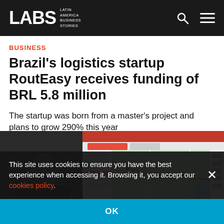LABS Latin America Business Stories
BUSINESS
Brazil's logistics startup RoutEasy receives funding of BRL 5.8 million
The startup was born from a master's project and plans to grow 290% this year
[Figure (photo): A laptop screen showing the RoutEasy logistics route planning interface with a map displaying delivery routes in Brazil]
This site uses cookies to ensure you have the best experience when accessing it. Browsing it, you accept our cookies policy.
OK